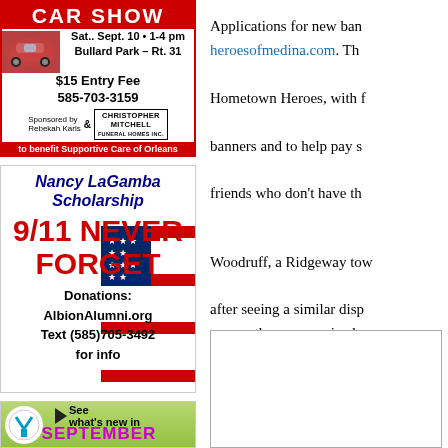[Figure (illustration): Car Show advertisement: red banner at top with 'CAR SHOW', Sat. Sept. 10 1-4 pm, Bullard Park Rt. 31, $15 Entry Fee, 585-703-3159, Sponsored by Rebekah Karls & Christopher Mitchell Funeral Homes Inc., to benefit Supportive Care of Orleans]
[Figure (illustration): Nancy LaGamba Scholarship 9/11 NEVER FORGET advertisement with American flag imagery. Donations: AlbionAlumni.org Text (585)705-3492 for info]
[Figure (illustration): YMCA advertisement: See what's new in SEPTEMBER at the Orleans County YMCA, with YMCA logo and arrow]
Applications for new ban
heroesofmedina.com. Th
Hometown Heroes, with f
banners and to help pay s
friends who don't have th
Woodruff, a Ridgeway tow
after seeing a similar disp
among those recognized
[Figure (other): Empty bordered box at bottom right]